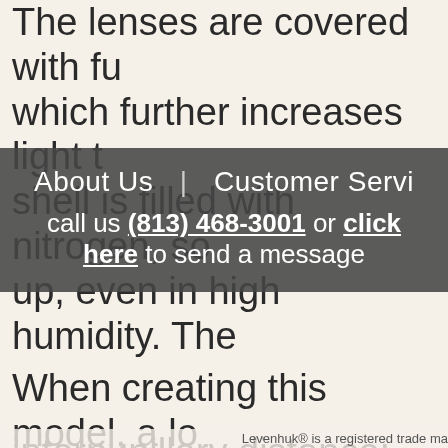The lenses are covered with fu which further increases light t shell is filled with nitrogen, so up, even in high humidity. The good or bad, but you can be s Levenhuk Sherman PRO 8x32 enjoy clear, sharp and crisp im colors.
About Us | Customer Servi
call us (813) 468-3001 or click here to send a message
When creating this model, a lo paid to user comfort. With Lev PRO 8x32 Binoculars you can interpupillary distance; and o
Levenhuk® is a registered trade ma